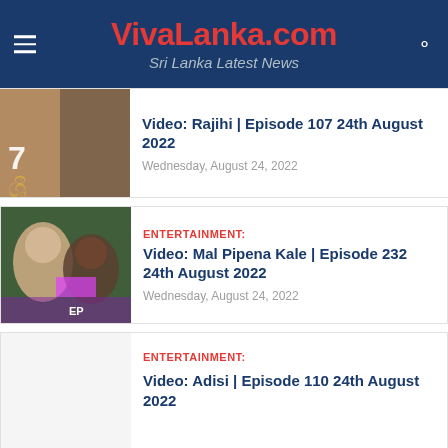VivaLanka.com — Sri Lanka Latest News
Video: Rajihi | Episode 107 24th August 2022
Wednesday, August 24, 2022
ENTERTAINMENT:
Video: Mal Pipena Kale | Episode 232 24th August 2022
Wednesday, August 24, 2022
ENTERTAINMENT:
Video: Adisi | Episode 110 24th August 2022